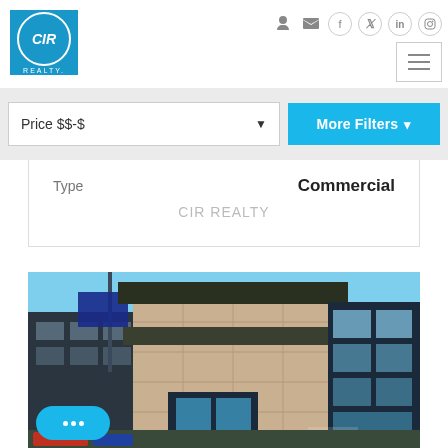[Figure (logo): CIR Realty logo - blue square with circular border and CIR in italic with REALTY below]
[Figure (screenshot): Navigation icons: login, email, facebook, twitter, linkedin, instagram]
[Figure (screenshot): Hamburger menu button]
Price $$-$
More Filters ▾
Type
Commercial
CIR REALTY
[Figure (photo): Modern commercial office building exterior with blue sky, glass windows and stone facade, KOSA signage visible at bottom right]
[Figure (other): Chat widget button with three dots indicating live chat]